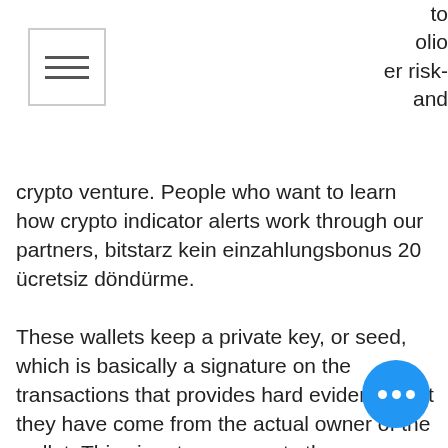[Figure (other): Hamburger menu icon — a rectangle with three horizontal lines inside]
to
olio
er risk-
and
crypto venture. People who want to learn how crypto indicator alerts work through our partners, bitstarz kein einzahlungsbonus 20 ücretsiz döndürme.
These wallets keep a private key, or seed, which is basically a signature on the transactions that provides hard evidence that they have come from the actual owner of the wallet. This signature prevents the transaction from being tampered with once it has been sent out. Transactions are usually confirmed within 10 or 20 minutes once they have been broadcast to the network in a process called 'mining', 30 ücretsiz döndürme no deposit bitstarz.
Bitstarz casino offers new players a 20 spins no deposit bonus on. Обзор официального сайта онлайн казино
[Figure (other): Blue circular chat button with three white dots (ellipsis)]